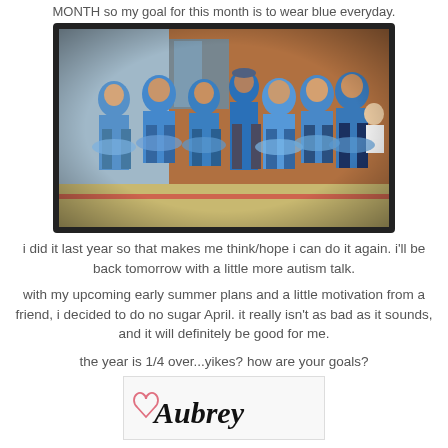MONTH so my goal for this month is to wear blue everyday.
[Figure (photo): Group photo of approximately 10-11 people wearing blue shirts and blue tutus, standing outside in front of a brick building]
i did it last year so that makes me think/hope i can do it again. i'll be back tomorrow with a little more autism talk.
with my upcoming early summer plans and a little motivation from a friend, i decided to do no sugar April. it really isn't as bad as it sounds, and it will definitely be good for me.
the year is 1/4 over...yikes? how are your goals?
[Figure (illustration): Handwritten signature reading 'Aubrey' with a small heart, on a white/light background]